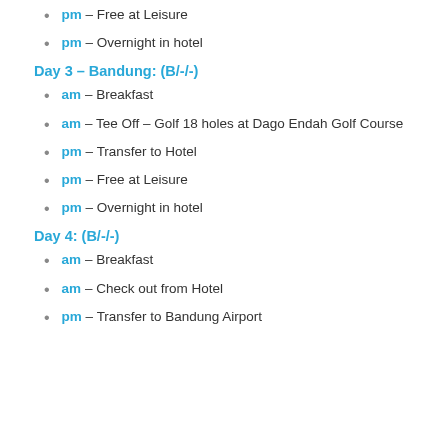pm – Free at Leisure
pm – Overnight in hotel
Day 3 – Bandung: (B/-/-)
am – Breakfast
am – Tee Off – Golf 18 holes at Dago Endah Golf Course
pm – Transfer to Hotel
pm – Free at Leisure
pm – Overnight in hotel
Day 4: (B/-/-)
am – Breakfast
am – Check out from Hotel
pm – Transfer to Bandung Airport